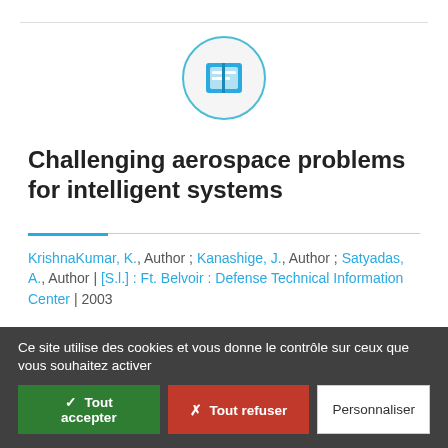[Figure (illustration): Book icon in a light blue circle outline on a light gray background]
Challenging aerospace problems for intelligent systems
KrishnaKumar, K., Author ; Kanashige, J., Author ; Satyadas, A., Author | [S.l.] : Ft. Belvoir : Defense Technical Information Center | 2003
In this paper we highlight four problem domains that are well suited and challenging for intelligent system technologies. The problems are defined and an outline of
Ce site utilise des cookies et vous donne le contrôle sur ceux que vous souhaitez activer